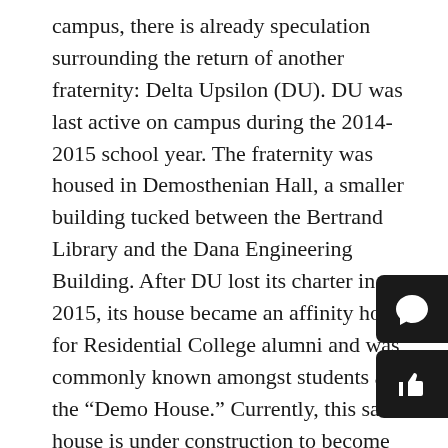campus, there is already speculation surrounding the return of another fraternity: Delta Upsilon (DU). DU was last active on campus during the 2014-2015 school year. The fraternity was housed in Demosthenian Hall, a smaller building tucked between the Bertrand Library and the Dana Engineering Building. After DU lost its charter in 2015, its house became an affinity house for Residential College alumni and was commonly known amongst students as the “Demo House.” Currently, this same house is under construction to become the new humanities center on campus, eliminating the possibility that DU will return to it. Nevertheless, there is still room for a new fraternity on campus. In fact, there is a brand new affinity house on Strohecker Farm Lane in South Campus, right next to SAE, Kappa Delta Rho (KDR), and Lambda Chi Alpha (LXA) that can house the returning fraternity.